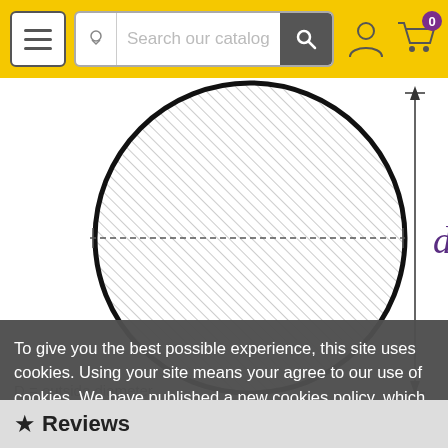Search our catalog
[Figure (engineering-diagram): Technical drawing of a solid circular rod cross-section with diagonal hatching, showing dimension 'd' for outside diameter. A vertical dimension line with arrows indicates the diameter 'd' to the right of the circle. A horizontal dimension line extends across the full width of the circle. The circle has heavy black outline with diagonal line hatching fill.]
D = outside diameter
To give you the best possible experience, this site uses cookies. Using your site means your agree to our use of cookies. We have published a new cookies policy, which you should need to find out more about the cookies we use. View cookies policy.
Accept
Customise Cookies
★ Reviews